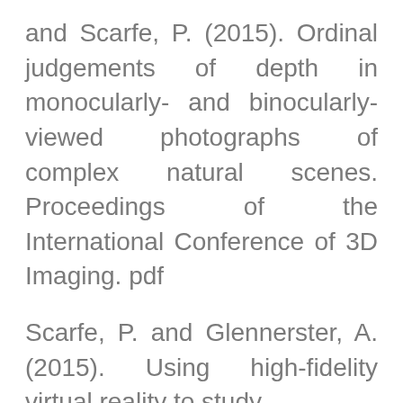and Scarfe, P. (2015). Ordinal judgements of depth in monocularly- and binocularly-viewed photographs of complex natural scenes. Proceedings of the International Conference of 3D Imaging. pdf
Scarfe, P. and Glennerster, A. (2015). Using high-fidelity virtual reality to study